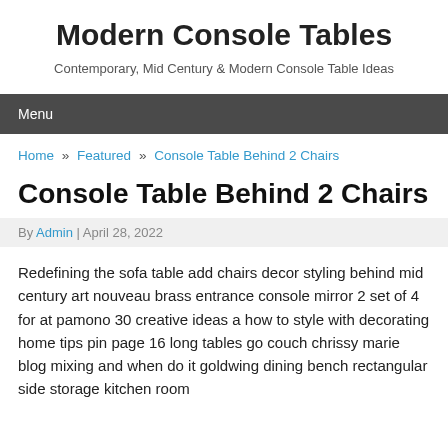Modern Console Tables
Contemporary, Mid Century & Modern Console Table Ideas
Menu
Home » Featured » Console Table Behind 2 Chairs
Console Table Behind 2 Chairs
By Admin | April 28, 2022
Redefining the sofa table add chairs decor styling behind mid century art nouveau brass entrance console mirror 2 set of 4 for at pamono 30 creative ideas a how to style with decorating home tips pin page 16 long tables go couch chrissy marie blog mixing and when do it goldwing dining bench rectangular side storage kitchen room